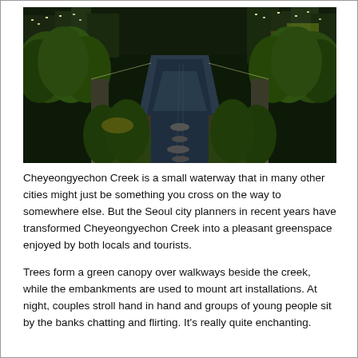[Figure (photo): Night photograph of Cheyeongyechon Creek in Seoul, South Korea. A narrow waterway runs down the center with stepping stones, flanked by lush green trees and lit walkways. City skyscrapers with bright lights are visible in the background.]
Cheyeongyechon Creek is a small waterway that in many other cities might just be something you cross on the way to somewhere else.  But the Seoul city planners in recent years have transformed Cheyeongyechon Creek into a pleasant greenspace enjoyed by both locals and tourists.
Trees form a green canopy over walkways beside the creek, while the embankments are used to mount art installations.  At night, couples stroll hand in hand and groups of young people sit by the banks chatting and flirting. It's really quite enchanting.